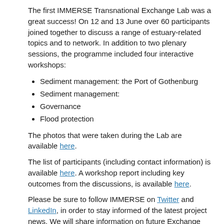The first IMMERSE Transnational Exchange Lab was a great success! On 12 and 13 June over 60 participants joined together to discuss a range of estuary-related topics and to network. In addition to two plenary sessions, the programme included four interactive workshops:
Sediment management: the Port of Gothenburg
Sediment management:
Governance
Flood protection
The photos that were taken during the Lab are available here.
The list of participants (including contact information) is available here. A workshop report including key outcomes from the discussions, is available here.
Please be sure to follow IMMERSE on Twitter and LinkedIn, in order to stay informed of the latest project news. We will share information on future Exchange Labs via these channels, including plans for the next Estuary Exchange Lab tentatively scheduled for March 2020 in the Netherlands.
Programme